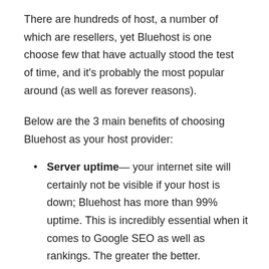There are hundreds of host, a number of which are resellers, yet Bluehost is one choose few that have actually stood the test of time, and it's probably the most popular around (as well as forever reasons).
Below are the 3 main benefits of choosing Bluehost as your host provider:
Server uptime— your internet site will certainly not be visible if your host is down; Bluehost has more than 99% uptime. This is incredibly essential when it comes to Google SEO as well as rankings. The greater the better.
Bluehost rate— just how your server response determines how rapid your internet site reveals on a web browser; Bluehost is lighting quick, which suggests you will lower your bounce price. Albeit not the most effective when it involves loading rate it's still extremely important to have a fast speed, to make user experience far better and also